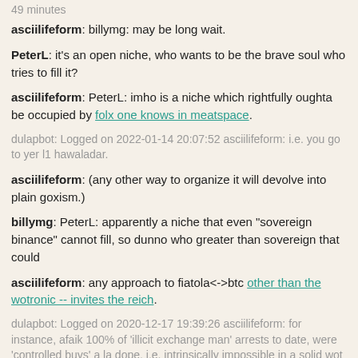49 minutes
asciilifeform: billymg: may be long wait.
PeterL: it's an open niche, who wants to be the brave soul who tries to fill it?
asciilifeform: PeterL: imho is a niche which rightfully oughta be occupied by folx one knows in meatspace.
dulapbot: Logged on 2022-01-14 20:07:52 asciilifeform: i.e. you go to yer l1 hawaladar.
asciilifeform: (any other way to organize it will devolve into plain goxism.)
billymg: PeterL: apparently a niche that even "sovereign binance" cannot fill, so dunno who greater than sovereign that could
asciilifeform: any approach to fiatola<->btc other than the wotronic -- invites the reich.
dulapbot: Logged on 2020-12-17 19:39:26 asciilifeform: for instance, afaik 100% of 'illicit exchange man' arrests to date, were 'controlled buys' a la dope. i.e. intrinsically impossible in a solid wot context.